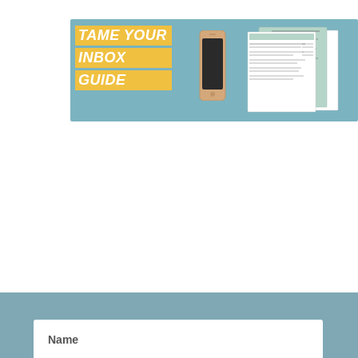[Figure (illustration): Banner graphic with teal background showing 'TAME YOUR INBOX GUIDE' in yellow italic bold text blocks, a smartphone illustration in the center, and document/form illustrations on the right.]
[Figure (screenshot): Web form with teal/slate background, containing Name field, Email field, and a yellow 'Make Your Inbox A Happy Place!' submit button, followed by a disclaimer text.]